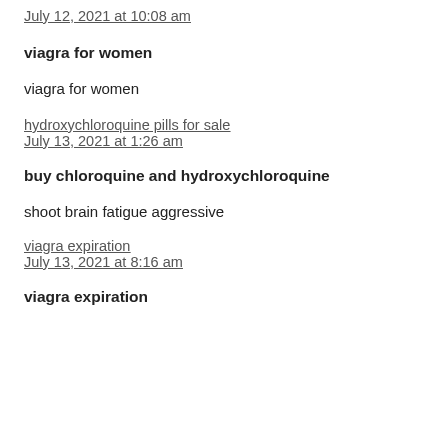July 12, 2021 at 10:08 am
viagra for women
viagra for women
hydroxychloroquine pills for sale
July 13, 2021 at 1:26 am
buy chloroquine and hydroxychloroquine
shoot brain fatigue aggressive
viagra expiration
July 13, 2021 at 8:16 am
viagra expiration